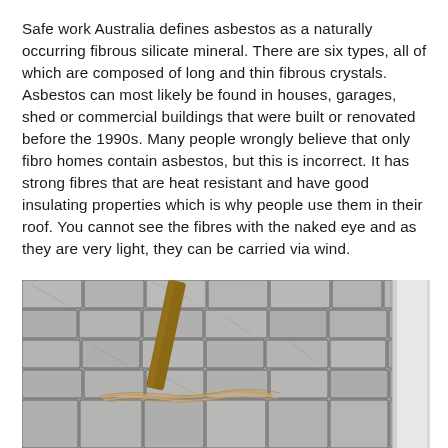Safe work Australia defines asbestos as a naturally occurring fibrous silicate mineral. There are six types, all of which are composed of long and thin fibrous crystals. Asbestos can most likely be found in houses, garages, shed or commercial buildings that were built or renovated before the 1990s. Many people wrongly believe that only fibro homes contain asbestos, but this is incorrect. It has strong fibres that are heat resistant and have good insulating properties which is why people use them in their roof. You cannot see the fibres with the naked eye and as they are very light, they can be carried via wind.
[Figure (photo): Photograph of an old roof with grey/weathered tile shingles showing cracks and dry fibrous material (possibly asbestos-containing debris) accumulated in the joints, with a wooden post and white drainpipe visible.]